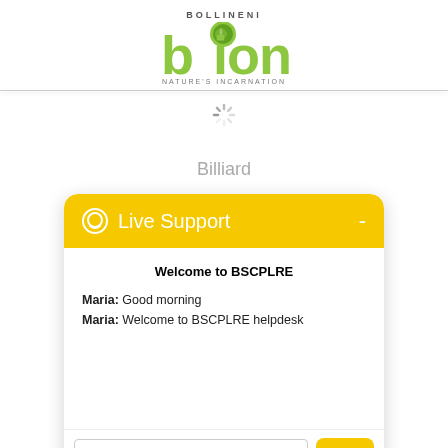[Figure (logo): Bollineni Bion - Nature's Incarnation logo with green leaf design and grey text]
[Figure (other): Loading spinner animation icon]
Billiard
[Figure (screenshot): Live Support chat widget with yellow header, welcome message from Maria, text input and Send button]